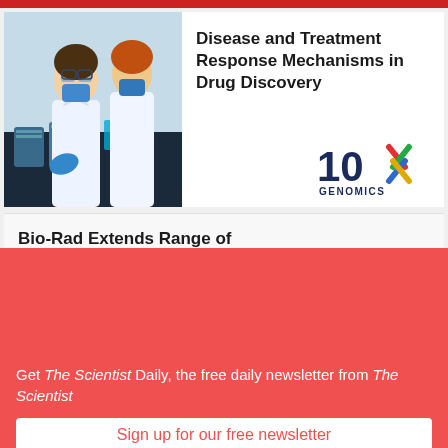[Figure (photo): Two scientists in white lab coats and blue face masks working in a laboratory with blue-tinted equipment and test tubes]
Disease and Treatment Response Mechanisms in Drug Discovery
[Figure (logo): 10x Genomics logo — '10x' in dark navy blue with a multicolored X (red, green, yellow, blue) and 'GENOMICS' below]
Bio-Rad Extends Range of
[Figure (illustration): Tablet device showing The Scientist website interface]
STAY CONNECTED WITH The Scientist
Get The Scientist Daily, the free daily newsletter from The Scientist
Sign up for our free newsletter